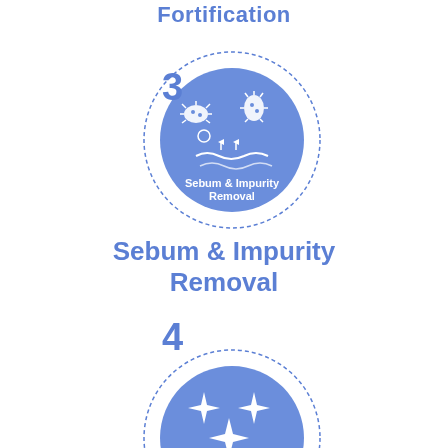Fortification
[Figure (infographic): Step 3 circle icon with dashed outer ring and solid blue fill, showing bacteria/germs above wavy skin lines, labeled 'Sebum & Impurity Removal'. Number 3 appears top-left.]
Sebum & Impurity Removal
[Figure (infographic): Step 4 circle icon with dashed outer ring and solid blue fill, showing four sparkle/star icons, labeled 'Exfoliation'. Number 4 appears top-left.]